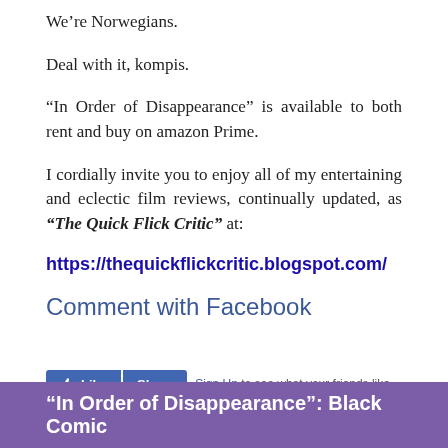We're Norwegians.
Deal with it, kompis.
“In Order of Disappearance” is available to both rent and buy on amazon Prime.
I cordially invite you to enjoy all of my entertaining and eclectic film reviews, continually updated, as “The Quick Flick Critic” at:
https://thequickflickcritic.blogspot.com/
Comment with Facebook
Like Share Sign Up to see what your friends like.
“In Order of Disappearance”: Black Comic